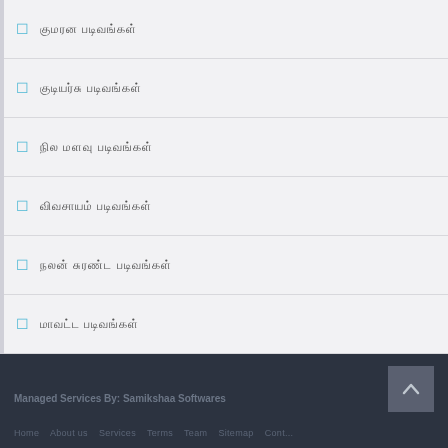குமரன் படிவங்கள்
குடியரசு படிவங்கள்
நில அளவு படிவங்கள்
விவசாயம் படிவங்கள்
நலன் சுரண்ட படிவங்கள்
மாவட்ட படிவங்கள்
வரலாறு படிவங்கள்
இயக்கம் படிவங்கள்
சுகாதர படிவங்கள்
வருவாய் படிவங்கள்
Managed Services By: Samikshaa Softwares  Home  About us  Services  Terms  Team  Sitemap  Cont...